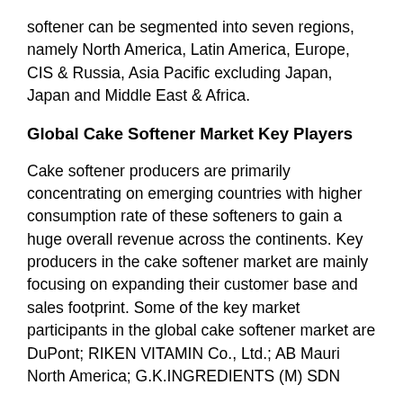softener can be segmented into seven regions, namely North America, Latin America, Europe, CIS & Russia, Asia Pacific excluding Japan, Japan and Middle East & Africa.
Global Cake Softener Market Key Players
Cake softener producers are primarily concentrating on emerging countries with higher consumption rate of these softeners to gain a huge overall revenue across the continents. Key producers in the cake softener market are mainly focusing on expanding their customer base and sales footprint. Some of the key market participants in the global cake softener market are DuPont; RIKEN VITAMIN Co., Ltd.; AB Mauri North America; G.K.INGREDIENTS (M) SDN